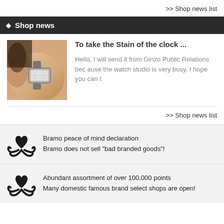>> Shop news list
Shop news
To take the Stain of the clock ...
Hello, I will send it from Ginzo Public Relations because the watch studio is very busy. I hope you can t
>> Shop news list
Bramo peace of mind declaration
Bramo does not sell "bad branded goods"!
Abundant assortment of over 100,000 points
Many domestic famous brand select shops are open!